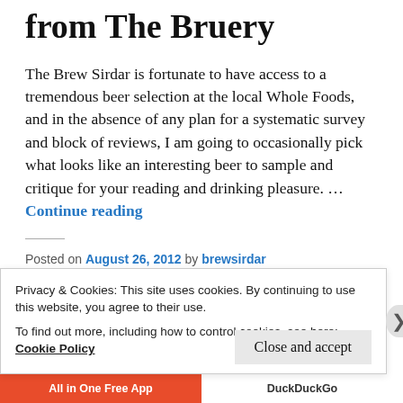from The Bruery
The Brew Sirdar is fortunate to have access to a tremendous beer selection at the local Whole Foods, and in the absence of any plan for a systematic survey and block of reviews, I am going to occasionally pick what looks like an interesting beer to sample and critique for your reading and drinking pleasure. … Continue reading
Posted on August 26, 2012 by brewsirdar
Posted in Beer reviews
Privacy & Cookies: This site uses cookies. By continuing to use this website, you agree to their use.
To find out more, including how to control cookies, see here: Cookie Policy
Close and accept
All in One Free App
DuckDuckGo